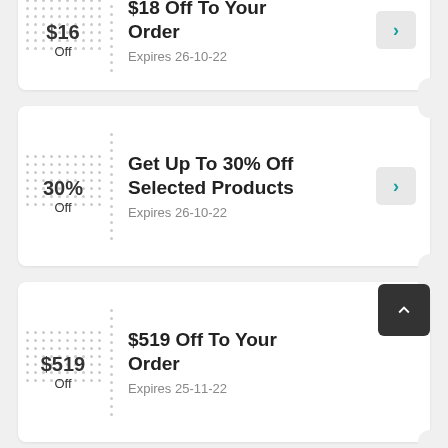[Figure (infographic): Coupon card: $16 Off To Your Order, Expires 26-10-22]
[Figure (infographic): Coupon card: Get Up To 30% Off Selected Products, Expires 26-10-22]
[Figure (infographic): Coupon card: $519 Off To Your Order, Expires 25-11-22]
[Figure (infographic): Coupon card: partial view at bottom of page]